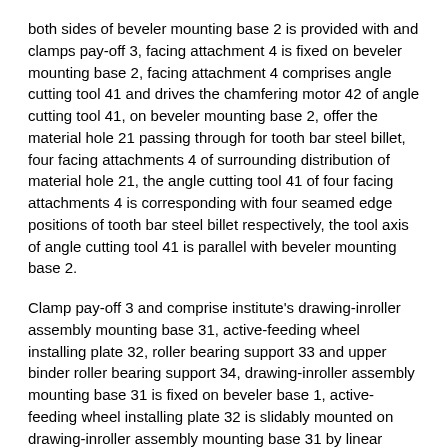both sides of beveler mounting base 2 is provided with and clamps pay-off 3, facing attachment 4 is fixed on beveler mounting base 2, facing attachment 4 comprises angle cutting tool 41 and drives the chamfering motor 42 of angle cutting tool 41, on beveler mounting base 2, offer the material hole 21 passing through for tooth bar steel billet, four facing attachments 4 of surrounding distribution of material hole 21, the angle cutting tool 41 of four facing attachments 4 is corresponding with four seamed edge positions of tooth bar steel billet respectively, the tool axis of angle cutting tool 41 is parallel with beveler mounting base 2.
Clamp pay-off 3 and comprise institute's drawing-inroller assembly mounting base 31, active-feeding wheel installing plate 32, roller bearing support 33 and upper binder roller bearing support 34, drawing-inroller assembly mounting base 31 is fixed on beveler base 1, active-feeding wheel installing plate 32 is slidably mounted on drawing-inroller assembly mounting base 31 by linear guides, on active-feeding wheel installing plate 32, be rotatablely equipped with several active-feeding wheels 35, the rotating shaft of active-feeding wheel 35 vertically